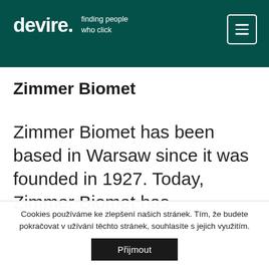devire. finding people who click
Zimmer Biomet
Zimmer Biomet has been based in Warsaw since it was founded in 1927. Today, Zimmer Biomet has
Cookies používáme ke zlepšení našich stránek. Tím, že budete pokračovat v užívání těchto stránek, souhlasíte s jejich využitím.
Přijmout